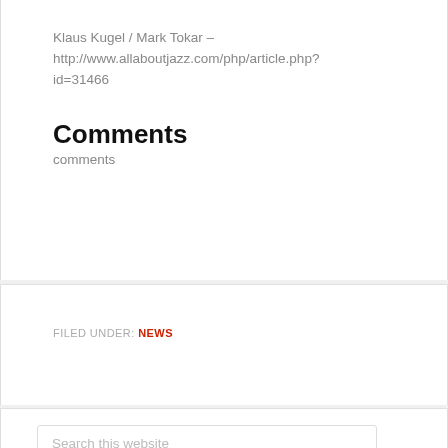Klaus Kugel / Mark Tokar – http://www.allaboutjazz.com/php/article.php?id=31466
Comments
comments
FILED UNDER: NEWS
Search this website